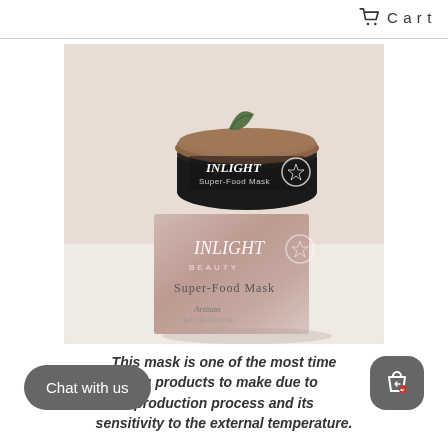Cart
[Figure (photo): Inlight Beauty Super-Food Mask product photo showing a dark glass jar with a wooden lid and a green leaf on top, sitting on top of its pink/marble patterned box. The box reads 'INLIGHT BEAUTY Super-Food Mask Artisan'. Both the jar and the box display the Inlight branding.]
This mask is one of the most time ing products to make due to production process and its sensitivity to the external temperature.